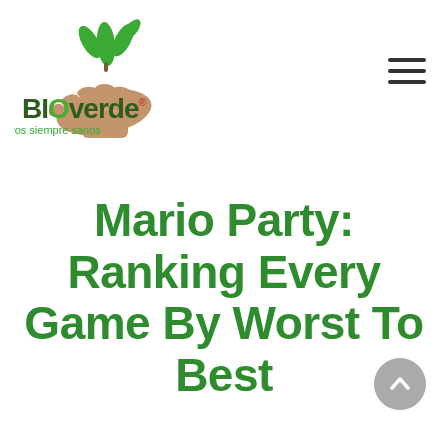[Figure (logo): BIOverde logo with green plant leaves above a brown hand, text 'BIOverde.' in dark green/brown and tagline 'Cultivos siempre sanos' in green]
Mario Party: Ranking Every Game By Worst To Best